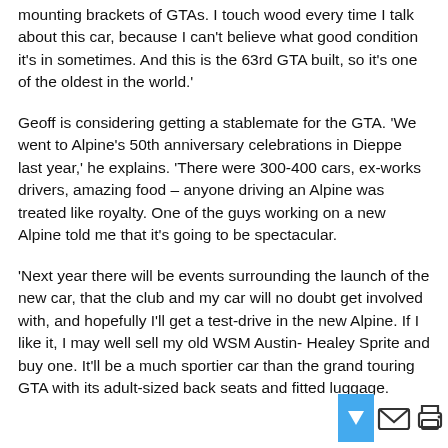mounting brackets of GTAs. I touch wood every time I talk about this car, because I can't believe what good condition it's in sometimes. And this is the 63rd GTA built, so it's one of the oldest in the world.'
Geoff is considering getting a stablemate for the GTA. 'We went to Alpine's 50th anniversary celebrations in Dieppe last year,' he explains. 'There were 300-400 cars, ex-works drivers, amazing food – anyone driving an Alpine was treated like royalty. One of the guys working on a new Alpine told me that it's going to be spectacular.
'Next year there will be events surrounding the launch of the new car, that the club and my car will no doubt get involved with, and hopefully I'll get a test-drive in the new Alpine. If I like it, I may well sell my old WSM Austin- Healey Sprite and buy one. It'll be a much sportier car than the grand touring GTA with its adult-sized back seats and fitted luggage.